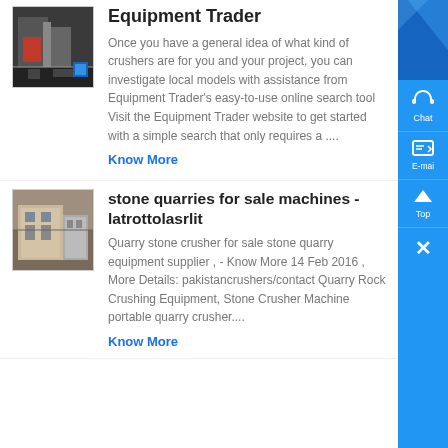[Figure (photo): Thumbnail image of industrial crusher/equipment machinery]
Equipment Trader
Once you have a general idea of what kind of crushers are for you and your project, you can investigate local models with assistance from Equipment Trader's easy-to-use online search tool Visit the Equipment Trader website to get started with a simple search that only requires a ....
Know More
[Figure (photo): Thumbnail image of stone quarry building/machinery]
stone quarries for sale machines - latrottolasrlit
Quarry stone crusher for sale stone quarry equipment supplier , - Know More 14 Feb 2016 , More Details: pakistancrushers/contact Quarry Rock Crushing Equipment, Stone Crusher Machine portable quarry crusher....
Know More